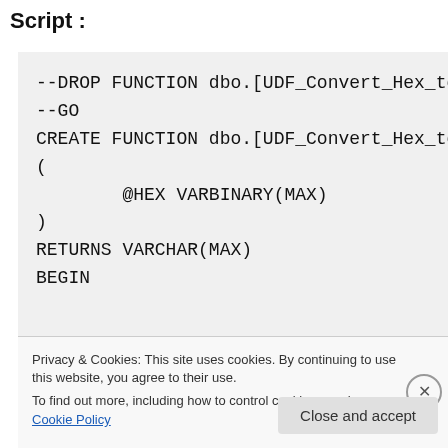Script :
--DROP FUNCTION dbo.[UDF_Convert_Hex_to_B
--GO
CREATE FUNCTION dbo.[UDF_Convert_Hex_to_B
(
        @HEX VARBINARY(MAX)
)
RETURNS VARCHAR(MAX)
BEGIN
Privacy & Cookies: This site uses cookies. By continuing to use this website, you agree to their use.
To find out more, including how to control cookies, see here: Cookie Policy